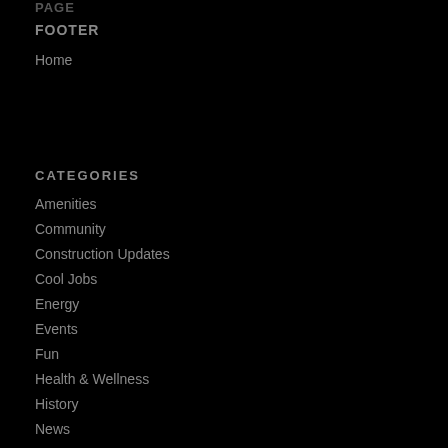PAGE
FOOTER
Home
CATEGORIES
Amenities
Community
Construction Updates
Cool Jobs
Energy
Events
Fun
Health & Wellness
History
News